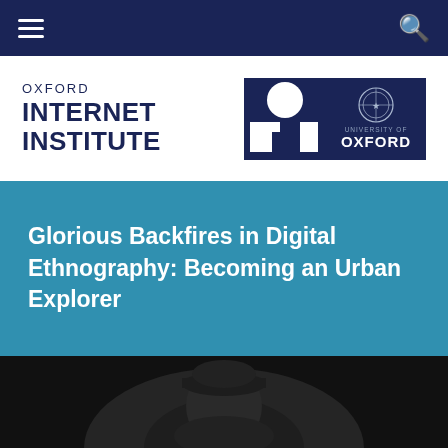Oxford Internet Institute navigation bar
[Figure (logo): Oxford Internet Institute logo with OII graphic and University of Oxford crest]
Glorious Backfires in Digital Ethnography: Becoming an Urban Explorer
[Figure (photo): Dark photograph of a person wearing a cap, partially visible, urban explorer theme]